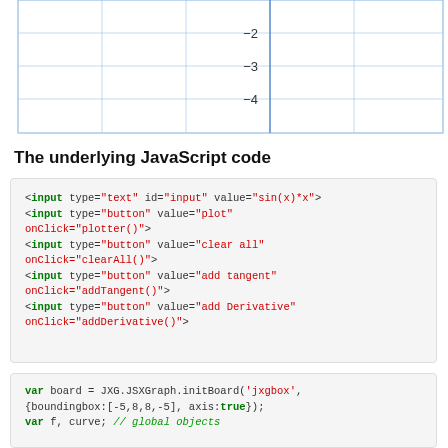[Figure (continuous-plot): Partial view of a JSXGraph coordinate grid showing y-axis labels -2, -3, -4 and a grid with light blue lines on white background]
The underlying JavaScript code
<input type="text" id="input" value="sin(x)*x">
<input type="button" value="plot" onClick="plotter()">
<input type="button" value="clear all" onClick="clearAll()">
<input type="button" value="add tangent" onClick="addTangent()">
<input type="button" value="add Derivative" onClick="addDerivative()">
var board = JXG.JSXGraph.initBoard('jxgbox', {boundingbox:[-5,8,8,-5], axis:true});
var f, curve; // global objects

function plotter() {
  var txtraw =
document.getElementById('input').value;
  f = board.jc.snippet(txtraw, true, 'x', true);